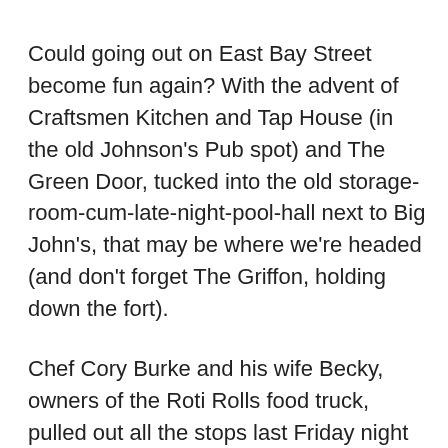Could going out on East Bay Street become fun again? With the advent of Craftsmen Kitchen and Tap House (in the old Johnson's Pub spot) and The Green Door, tucked into the old storage-room-cum-late-night-pool-hall next to Big John's, that may be where we're headed (and don't forget The Griffon, holding down the fort).
Chef Cory Burke and his wife Becky, owners of the Roti Rolls food truck, pulled out all the stops last Friday night with a four-hour, six-course, pop-up preview dinner in their new digs, proving that colorful paint and plywood can work wonders in a